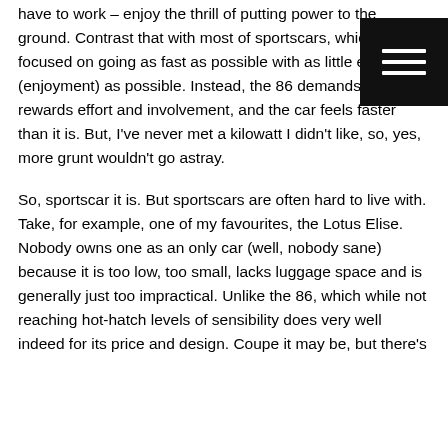have to work – enjoy the thrill of putting power to the ground. Contrast that with most of sportscars, which are focused on going as fast as possible with as little effort (enjoyment) as possible. Instead, the 86 demands, then rewards effort and involvement, and the car feels faster than it is. But, I've never met a kilowatt I didn't like, so, yes, more grunt wouldn't go astray.

So, sportscar it is. But sportscars are often hard to live with. Take, for example, one of my favourites, the Lotus Elise. Nobody owns one as an only car (well, nobody sane) because it is too low, too small, lacks luggage space and is generally just too impractical. Unlike the 86, which while not reaching hot-hatch levels of sensibility does very well indeed for its price and design. Coupe it may be, but there's